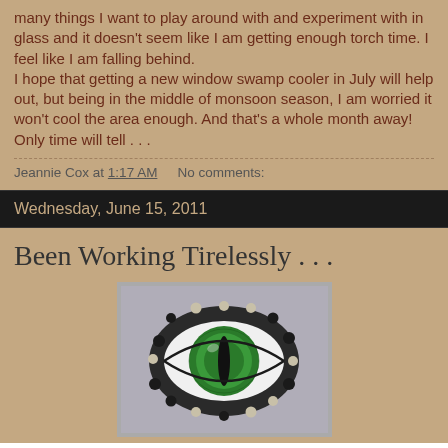many things I want to play around with and experiment with in glass and it doesn't seem like I am getting enough torch time.  I feel like I am falling behind.
I hope that getting a new window swamp cooler in July will help out, but being in the middle of monsoon season, I am worried it won't cool the area enough.  And that's a whole month away!
Only time will tell . . .
Jeannie Cox at 1:17 AM    No comments:
Wednesday, June 15, 2011
Been Working Tirelessly . . .
[Figure (photo): A glass art lampwork bead depicting a green reptilian eye, surrounded by dark twisted glass and small round dots, white sclera with vivid green iris and dark pupil slit.]